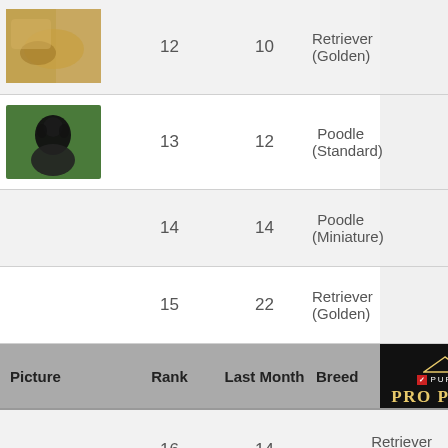| Picture | Rank | Last Month | Breed |
| --- | --- | --- | --- |
| [dog photo] | 12 | 10 | Retriever (Golden) |
| [poodle photo] | 13 | 12 | Poodle (Standard) |
|  | 14 | 14 | Poodle (Miniature) |
|  | 15 | 22 | Retriever (Golden) |
| [header] | Rank | Last Month | Breed |
|  | 16 | 14 | Retriever (Golden) |
| [dog photo] | 17 | 16 | Retriever (Golden) |
|  | 18 | 17 | Retriever (Golden) |